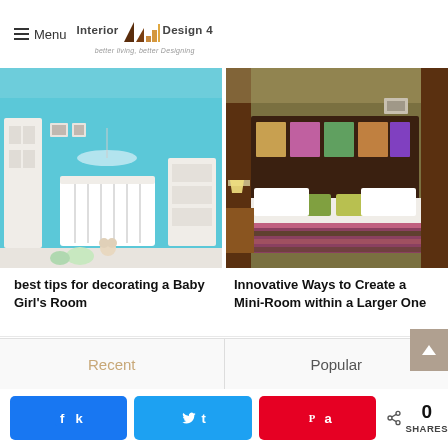Menu | Interior Design 4 — better living, better Designing
[Figure (photo): Baby girl's room with blue wallpaper, white crib, white furniture, and toys on the floor]
[Figure (photo): Hotel-style bedroom with brown/olive accent wall, colorful striped bedspread, green pillows, and bedside lamp]
best tips for decorating a Baby Girl's Room
Innovative Ways to Create a Mini-Room within a Larger One
Recent
Popular
0 SHARES